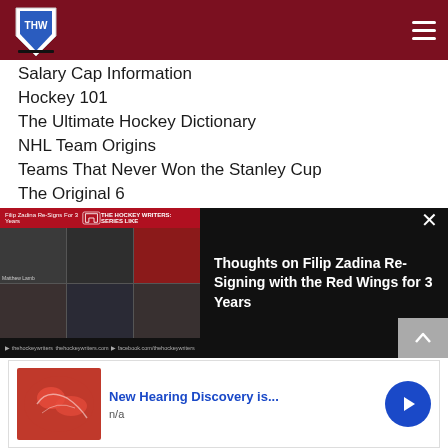[Figure (logo): THW Hockey Writers shield logo in white/blue on dark red header with hamburger menu icon]
Salary Cap Information
Hockey 101
The Ultimate Hockey Dictionary
NHL Team Origins
Teams That Never Won the Stanley Cup
The Original 6
Jerseys from Defunct NHL Clubs
The Gordie Howe Hat Trick
[Figure (screenshot): Video player showing Filip Zadina Re-Signs for 3 Years, grid of video participants on left, title on black background right]
Thoughts on Filip Zadina Re-Signing with the Red Wings for 3 Years
[Figure (infographic): Advertisement: New Hearing Discovery is... n/a with blue arrow button]